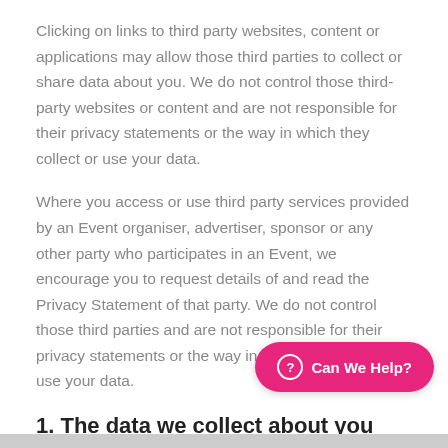Clicking on links to third party websites, content or applications may allow those third parties to collect or share data about you. We do not control those third-party websites or content and are not responsible for their privacy statements or the way in which they collect or use your data.
Where you access or use third party services provided by an Event organiser, advertiser, sponsor or any other party who participates in an Event, we encourage you to request details of and read the Privacy Statement of that party. We do not control those third parties and are not responsible for their privacy statements or the way in which they collect or use your data.
1. The data we collect about you
Personal data, or personal information, means any information about a living individual from which that person can be identified.